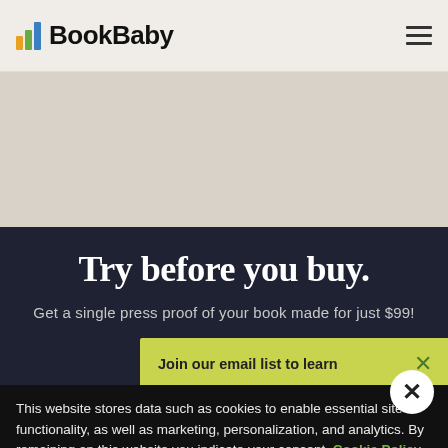BookBaby
[Figure (screenshot): Beige/tan hero image area, empty background]
Try before you buy.
Get a single press proof of your book made for just $99!
Join our email list to learn
This website stores data such as cookies to enable essential site functionality, as well as marketing, personalization, and analytics. By remaining on this website you indicate your consent. Cookie Policy